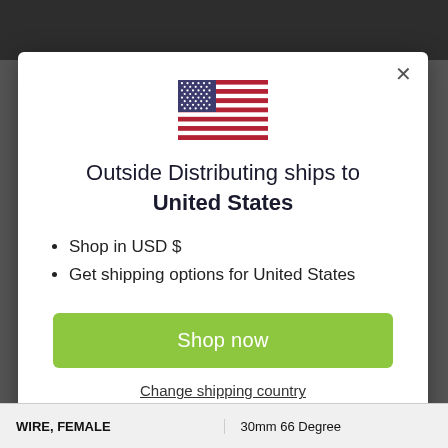[Figure (screenshot): Modal dialog on a website. Shows US flag, text 'Outside Distributing ships to United States', bullet points for USD and shipping options, a green 'Shop now' button, and a 'Change shipping country' link.]
Outside Distributing ships to United States
Shop in USD $
Get shipping options for United States
Shop now
Change shipping country
WIRE, FEMALE | 30mm 66 Degree